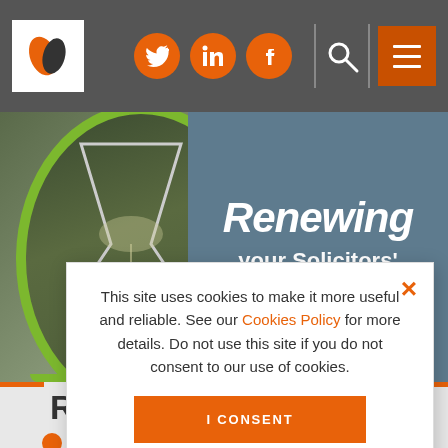Navigation header with logo, social icons (Twitter, LinkedIn, Facebook), search, and menu button
[Figure (photo): Hero banner showing an hourglass with sand falling, overlaid with text 'Renewing your Solicitors' PI cover?' on a blue-grey background]
This site uses cookies to make it more useful and reliable. See our Cookies Policy for more details. Do not use this site if you do not consent to our use of cookies.
I CONSENT
SEE COOKIE POLICY